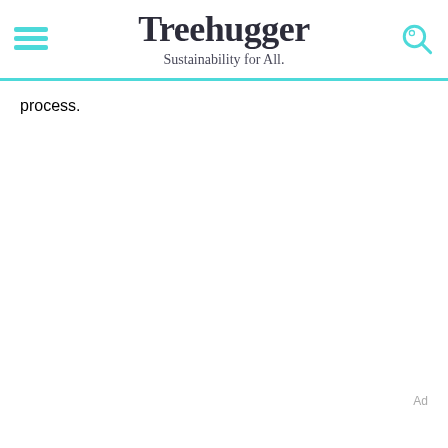Treehugger — Sustainability for All.
process.
Ad